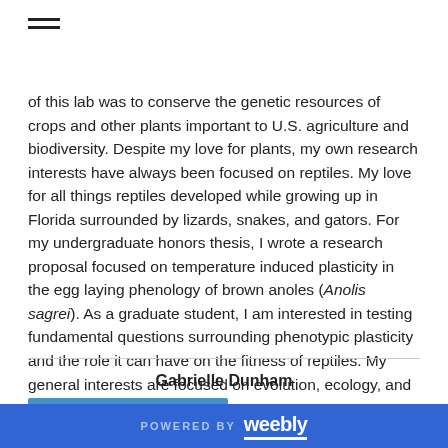[Figure (other): Hamburger menu icon (three horizontal lines)]
of this lab was to conserve the genetic resources of crops and other plants important to U.S. agriculture and biodiversity. Despite my love for plants, my own research interests have always been focused on reptiles. My love for all things reptiles developed while growing up in Florida surrounded by lizards, snakes, and gators. For my undergraduate honors thesis, I wrote a research proposal focused on temperature induced plasticity in the egg laying phenology of brown anoles (Anolis sagrei). As a graduate student, I am interested in testing fundamental questions surrounding phenotypic plasticity and the role it can have on the fitness of reptiles. My general interests are focused on evolution, ecology, and plasticity.
Gabrielle Dunham
POWERED BY weebly